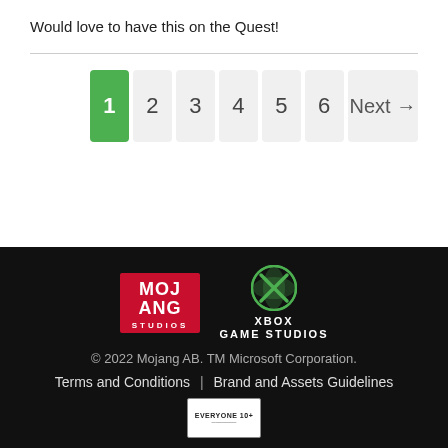Would love to have this on the Quest!
[Figure (other): Pagination bar with pages 1 (active, green), 2, 3, 4, 5, 6, and Next arrow button]
[Figure (logo): Mojang Studios logo (red square with white pixelated text) and Xbox Game Studios logo (green circle with X, white text)]
© 2022 Mojang AB. TM Microsoft Corporation.
Terms and Conditions | Brand and Assets Guidelines
[Figure (other): ESRB Everyone 10+ rating box, partially visible at bottom]